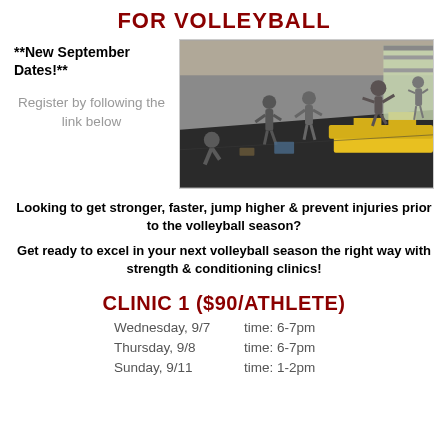FOR VOLLEYBALL
**New September Dates!**
Register by following the link below
[Figure (photo): Indoor gym/training facility with athletes performing exercises, including box jumps and conditioning drills on a dark floor mat, with a large open garage-style door in the background.]
Looking to get stronger, faster, jump higher & prevent injuries prior to the volleyball season?
Get ready to excel in your next volleyball season the right way with strength & conditioning clinics!
CLINIC 1 ($90/ATHLETE)
Wednesday, 9/7   time: 6-7pm
Thursday, 9/8       time: 6-7pm
Sunday, 9/11       time: 1-2pm